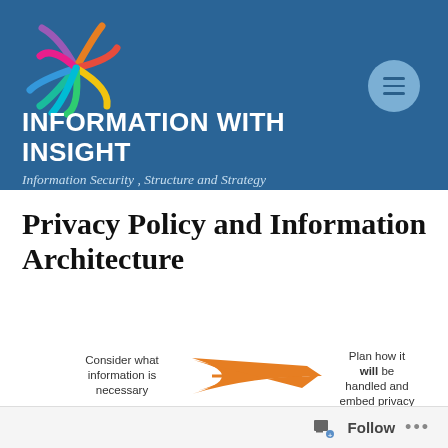[Figure (logo): Colorful starburst/person logo made of curved colored lines (red, orange, yellow, green, blue, purple, pink) arranged in a circular pattern]
INFORMATION WITH INSIGHT
Information Security , Structure and Strategy
Privacy Policy and Information Architecture
[Figure (infographic): Two-step infographic with an orange arrow pointing right. Left box: 'Consider what information is necessary'. Right box: 'Plan how it will be handled and embed privacy']
Follow ...